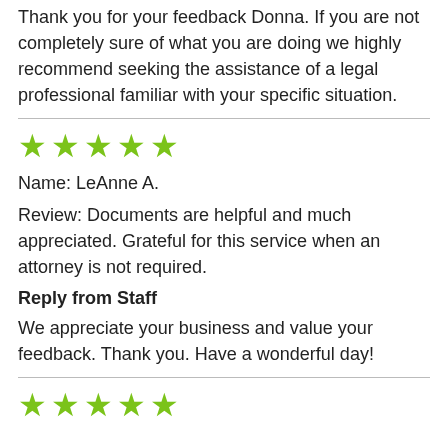Thank you for your feedback Donna. If you are not completely sure of what you are doing we highly recommend seeking the assistance of a legal professional familiar with your specific situation.
[Figure (other): Five green stars rating]
Name: LeAnne A.
Review: Documents are helpful and much appreciated. Grateful for this service when an attorney is not required.
Reply from Staff
We appreciate your business and value your feedback. Thank you. Have a wonderful day!
[Figure (other): Five green stars rating]